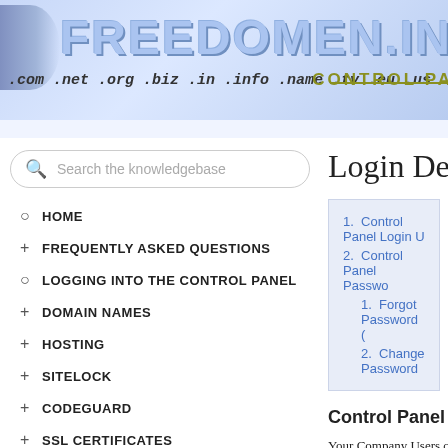FREEDOMEN.INFO — .com .net .org .biz .in .info .name .tv .eu .us .cc .ws .asia — CONTROL PA
Search the knowledgebase
HOME
FREQUENTLY ASKED QUESTIONS
LOGGING INTO THE CONTROL PANEL
DOMAIN NAMES
HOSTING
SITELOCK
CODEGUARD
SSL CERTIFICATES
COMBO PLANS
ORDER MANAGEMENT
DNS
Login Details
1. Control Panel Login U
2. Control Panel Passwo
  1. Forgot Password (
  2. Change Password
Control Panel Login
Your Company Users can
by their Role [Support/A
Support User Login URL -
Billing User Login URL -